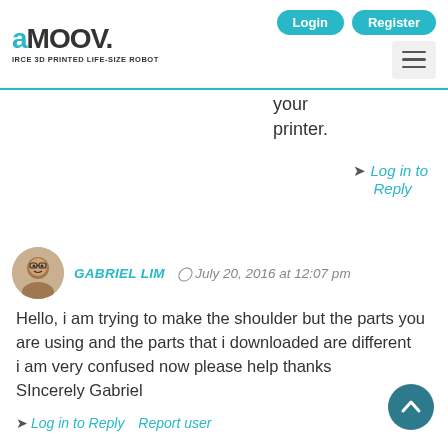aMOOV. IRCE 3D PRINTED LIFE-SIZE ROBOT | Login | Register
your printer.
Log in to Reply
GABRIEL LIM   July 20, 2016 at 12:07 pm
Hello, i am trying to make the shoulder but the parts you are using and the parts that i downloaded are different
i am very confused now please help thanks
SIncerely Gabriel
Log in to Reply   Report user